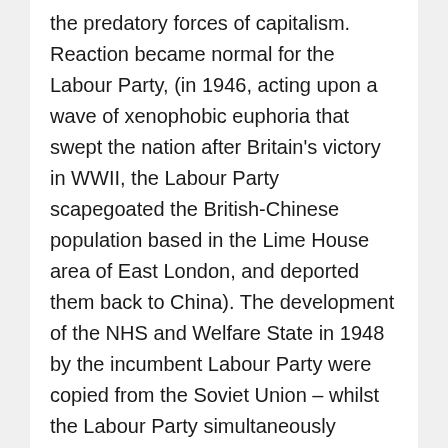the predatory forces of capitalism. Reaction became normal for the Labour Party, (in 1946, acting upon a wave of xenophobic euphoria that swept the nation after Britain's victory in WWII, the Labour Party scapegoated the British-Chinese population based in the Lime House area of East London, and deported them back to China). The development of the NHS and Welfare State in 1948 by the incumbent Labour Party were copied from the Soviet Union – whilst the Labour Party simultaneously aligned itself with US Cold War Anti-Soviet propaganda and hysteria. Jeremy Corbyn's betrayal of his own anti-EU principles as leader of the Labour Party saw whole swathes of the British working-class voting 'Tory' as a means to secure the UK's exist